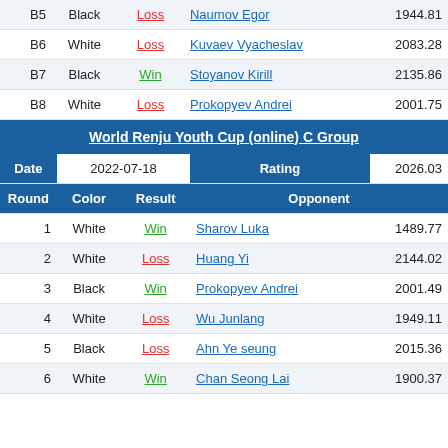| Round | Color | Result | Opponent | Rating |
| --- | --- | --- | --- | --- |
| B5 | Black | Loss | Naumov Egor | 1944.81 |
| B6 | White | Loss | Kuvaev Vyacheslav | 2083.28 |
| B7 | Black | Win | Stoyanov Kirill | 2135.86 |
| B8 | White | Loss | Prokopyev Andrei | 2001.75 |
World Renju Youth Cup (online) C Group
| Date | 2022-07-18 | Rating | 2026.03 |
| --- | --- | --- | --- |
| Round | Color | Result | Opponent |  |
| 1 | White | Win | Sharov Luka | 1489.77 |
| 2 | White | Loss | Huang Yi | 2144.02 |
| 3 | Black | Win | Prokopyev Andrei | 2001.49 |
| 4 | White | Loss | Wu Junlang | 1949.11 |
| 5 | Black | Loss | Ahn Ye seung | 2015.36 |
| 6 | White | Win | Chan Seong Lai | 1900.37 |